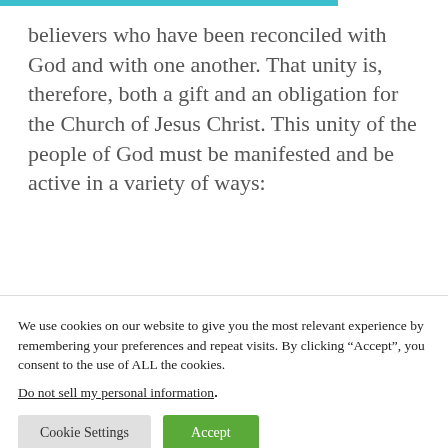believers who have been reconciled with God and with one another. That unity is, therefore, both a gift and an obligation for the Church of Jesus Christ. This unity of the people of God must be manifested and be active in a variety of ways:
We use cookies on our website to give you the most relevant experience by remembering your preferences and repeat visits. By clicking “Accept”, you consent to the use of ALL the cookies.
Do not sell my personal information.